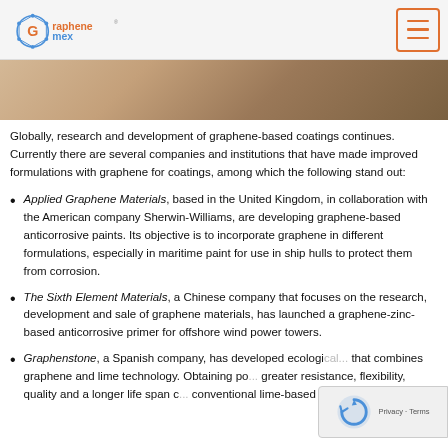Graphenemex
[Figure (photo): Close-up photo of a hand holding or touching a wooden or painted surface, with blue background visible]
Globally, research and development of graphene-based coatings continues. Currently there are several companies and institutions that have made improved formulations with graphene for coatings, among which the following stand out:
Applied Graphene Materials, based in the United Kingdom, in collaboration with the American company Sherwin-Williams, are developing graphene-based anticorrosive paints. Its objective is to incorporate graphene in different formulations, especially in maritime paint for use in ship hulls to protect them from corrosion.
The Sixth Element Materials, a Chinese company that focuses on the research, development and sale of graphene materials, has launched a graphene-zinc-based anticorrosive primer for offshore wind power towers.
Graphenstone, a Spanish company, has developed ecological... that combines graphene and lime technology. Obtaining pa... greater resistance, flexibility, quality and a longer life span c... conventional lime-based paints.